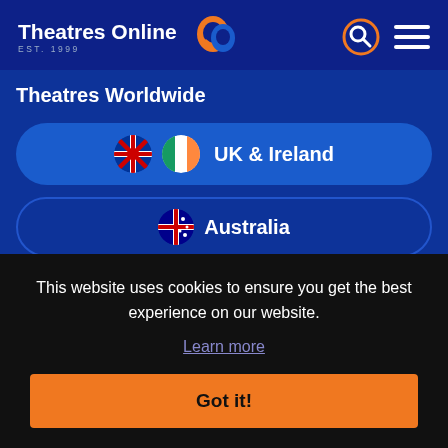Theatres Online EST. 1999
Theatres Worldwide
UK & Ireland
Australia
This website uses cookies to ensure you get the best experience on our website.
Learn more
Got it!